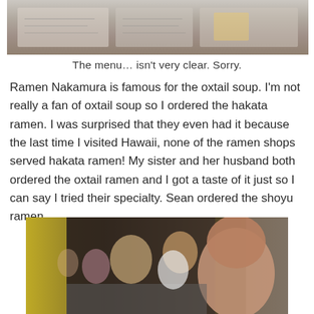[Figure (photo): Top portion of a restaurant menu, partially visible and blurry]
The menu… isn't very clear. Sorry.
Ramen Nakamura is famous for the oxtail soup. I'm not really a fan of oxtail soup so I ordered the hakata ramen. I was surprised that they even had it because the last time I visited Hawaii, none of the ramen shops served hakata ramen! My sister and her husband both ordered the oxtail ramen and I got a taste of it just so I can say I tried their specialty. Sean ordered the shoyu ramen.
[Figure (photo): People sitting at a restaurant table with yellow banners in the background; a woman smiling in the foreground]